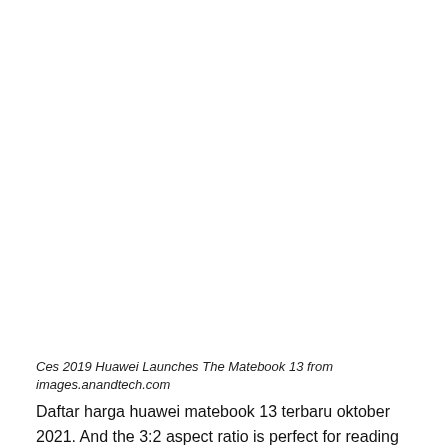Ces 2019 Huawei Launches The Matebook 13 from images.anandtech.com
Daftar harga huawei matebook 13 terbaru oktober 2021. And the 3:2 aspect ratio is perfect for reading and writing. With up